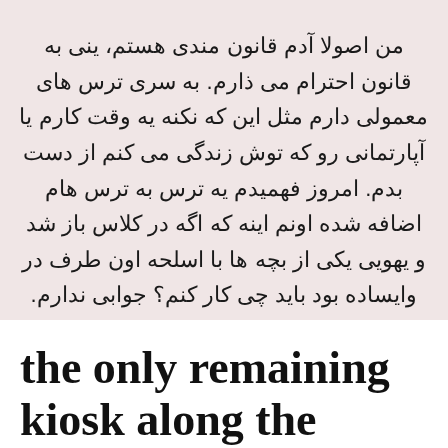من اصولا آدم قانون مندی هستم، ینی به قانون احترام می ذارم. به سری ترس های معمولی دارم مثل این که نکنه یه وقت کارم یا آپارتمانی رو که توش زندگی می کنم از دست بدم. امروز فهمیدم یه ترس به ترس هام اضافه شده اونم اینه که اگه در کلاس باز شد و یهویی یکی از بچه ها با اسلحه اون طرف در وایساده بود باید چی کار کنم؟ جوابی ندارم.
boolour  Uncategorized  Leave a comment  December 2, 2021  1 Minute
the only remaining kiosk along the boardwalk in